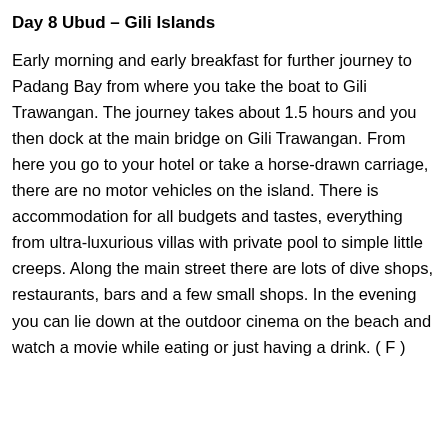this adventure, a small meal is served as a refreshment before you drive back to the hotel in Ubud. ( F , L )
Day 8 Ubud – Gili Islands
Early morning and early breakfast for further journey to Padang Bay from where you take the boat to Gili Trawangan. The journey takes about 1.5 hours and you then dock at the main bridge on Gili Trawangan. From here you go to your hotel or take a horse-drawn carriage, there are no motor vehicles on the island. There is accommodation for all budgets and tastes, everything from ultra-luxurious villas with private pool to simple little creeps. Along the main street there are lots of dive shops, restaurants, bars and a few small shops. In the evening you can lie down at the outdoor cinema on the beach and watch a movie while eating or just having a drink. ( F )